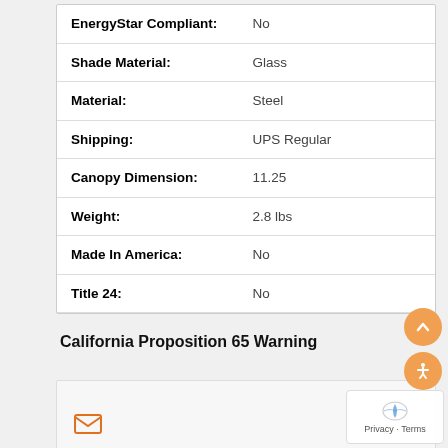| Attribute | Value |
| --- | --- |
| EnergyStar Compliant: | No |
| Shade Material: | Glass |
| Material: | Steel |
| Shipping: | UPS Regular |
| Canopy Dimension: | 11.25 |
| Weight: | 2.8 lbs |
| Made In America: | No |
| Title 24: | No |
California Proposition 65 Warning